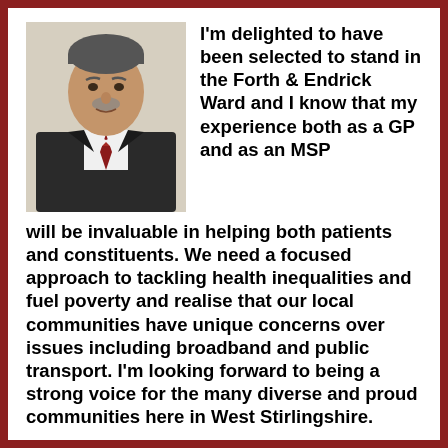[Figure (photo): Portrait photo of a middle-aged man in a dark suit with a tie, against a light background.]
I'm delighted to have been selected to stand in the Forth & Endrick Ward and I know that my experience both as a GP and as an MSP will be invaluable in helping both patients and constituents.  We need a focused approach to tackling health inequalities and fuel poverty and realise that our local communities have unique concerns over issues including broadband and public transport.  I'm looking forward to being a strong voice for the many diverse and proud communities here in West Stirlingshire.
Trossachs & Teith
In Trossachs & Teith, local members have chosen Gerry McGarvey to be their candidate.   Gerry lives in the ward, in Gartmore, with his wife and is an active